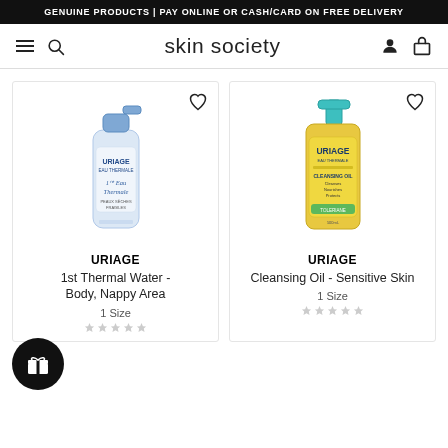GENUINE PRODUCTS | PAY ONLINE OR CASH/CARD ON FREE DELIVERY
skin society
[Figure (photo): Uriage 1st Thermal Water spray bottle product image]
URIAGE
1st Thermal Water - Body, Nappy Area
1 Size
[Figure (photo): Uriage Cleansing Oil - Sensitive Skin product image in yellow pump bottle]
URIAGE
Cleansing Oil - Sensitive Skin
1 Size